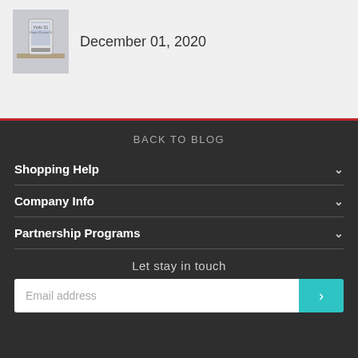[Figure (photo): Product thumbnail image of a device (Viofo S1 Smart Pocket Series) shown on a shelf background]
December 01, 2020
BACK TO BLOG
Shopping Help
Company Info
Partnership Programs
Let stay in touch
Email address
USD
English